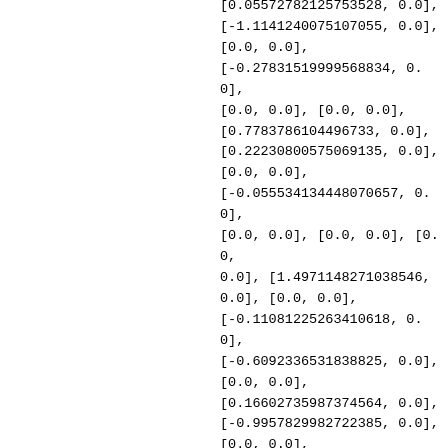[0.05572782125753528, 0.0], [-1.1141240075107055, 0.0], [0.0, 0.0], [-0.27831519999568834, 0.0], [0.0, 0.0], [0.0, 0.0], [0.7783786104496733, 0.0], [0.22230800575069135, 0.0], [0.0, 0.0], [-0.055534134448070657, 0.0], [0.0, 0.0], [0.0, 0.0], [0.0, 0.0], [1.4971148271038546, 0.0], [0.0, 0.0], [-0.11081225263410618, 0.0], [-0.6092336531838825, 0.0], [0.0, 0.0], [0.16602735987374564, 0.0], [-0.9957829982722385, 0.0], [0.0, 0.0], [0.11055799856455642, 0.0], [-0.5525789639955376, 0.0]